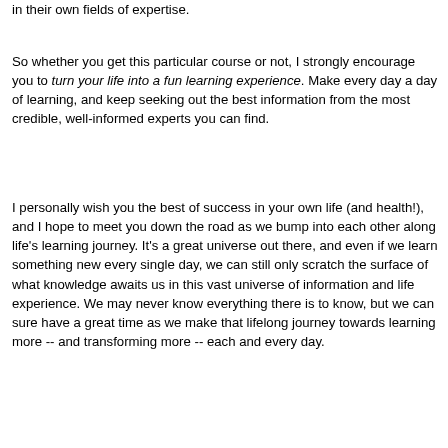in their own fields of expertise.
So whether you get this particular course or not, I strongly encourage you to turn your life into a fun learning experience. Make every day a day of learning, and keep seeking out the best information from the most credible, well-informed experts you can find.
I personally wish you the best of success in your own life (and health!), and I hope to meet you down the road as we bump into each other along life's learning journey. It's a great universe out there, and even if we learn something new every single day, we can still only scratch the surface of what knowledge awaits us in this vast universe of information and life experience. We may never know everything there is to know, but we can sure have a great time as we make that lifelong journey towards learning more -- and transforming more -- each and every day.